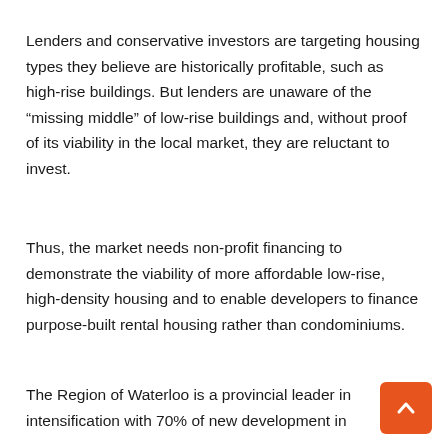Lenders and conservative investors are targeting housing types they believe are historically profitable, such as high-rise buildings. But lenders are unaware of the “missing middle” of low-rise buildings and, without proof of its viability in the local market, they are reluctant to invest.
Thus, the market needs non-profit financing to demonstrate the viability of more affordable low-rise, high-density housing and to enable developers to finance purpose-built rental housing rather than condominiums.
The Region of Waterloo is a provincial leader in intensification with 70% of new development in...